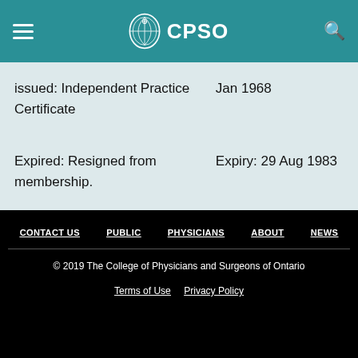CPSO
| issued: Independent Practice Certificate | Jan 1968 |
| Expired: Resigned from membership. | Expiry: 29 Aug 1983 |
CONTACT US  PUBLIC  PHYSICIANS  ABOUT  NEWS
© 2019 The College of Physicians and Surgeons of Ontario
Terms of Use  Privacy Policy